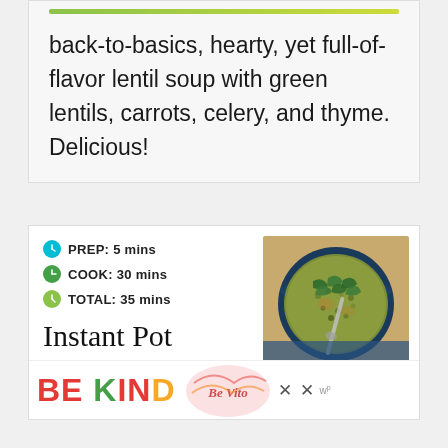back-to-basics, hearty, yet full-of-flavor lentil soup with green lentils, carrots, celery, and thyme. Delicious!
PREP: 5 mins
COOK: 30 mins
TOTAL: 35 mins
Instant Pot Golden Lentil
[Figure (photo): Overhead photo of a blue bowl containing green lentil soup with wilted spinach on top, with a spoon, on a wooden surface.]